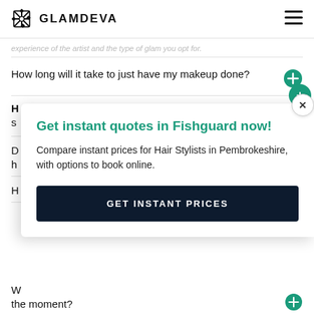GLAMDEVA
experience of the artist and the type of glam you opt for.
How long will it take to just have my makeup done?
H s
D h
H
Get instant quotes in Fishguard now! Compare instant prices for Hair Stylists in Pembrokeshire, with options to book online.
GET INSTANT PRICES
W the moment?